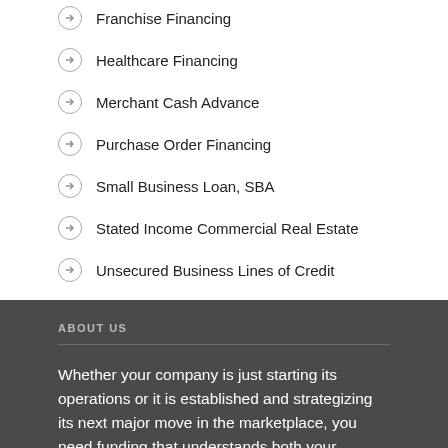Franchise Financing
Healthcare Financing
Merchant Cash Advance
Purchase Order Financing
Small Business Loan, SBA
Stated Income Commercial Real Estate
Unsecured Business Lines of Credit
ABOUT US
Whether your company is just starting its operations or it is established and strategizing its next major move in the marketplace, you need funding that understands both your...